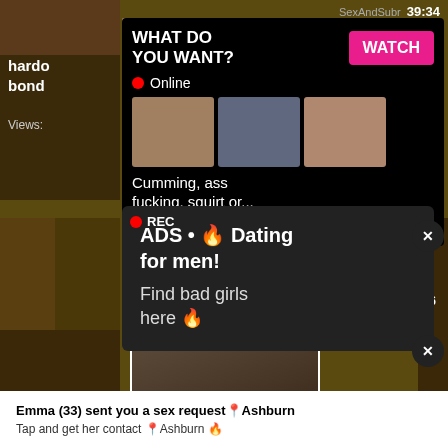[Figure (screenshot): Adult website screenshot with multiple overlapping popup advertisements over explicit thumbnail images]
SexAndSubr
39:34
hardo... ed in bond...
Views:
WHAT DO YOU WANT?
WATCH
Online
Cumming, ass fucking, squirt or...
• ADS
REC
ADS • 🔥 Dating for men! Find bad girls here 🔥
Emma (33) sent you a sex request📍Ashburn
Tap and get her contact 📍Ashburn 🔥